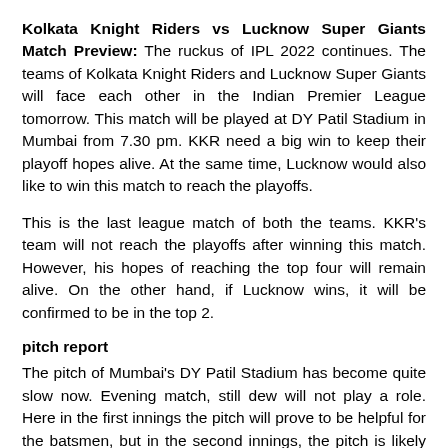Kolkata Knight Riders vs Lucknow Super Giants Match Preview: The ruckus of IPL 2022 continues. The teams of Kolkata Knight Riders and Lucknow Super Giants will face each other in the Indian Premier League tomorrow. This match will be played at DY Patil Stadium in Mumbai from 7.30 pm. KKR need a big win to keep their playoff hopes alive. At the same time, Lucknow would also like to win this match to reach the playoffs.
This is the last league match of both the teams. KKR's team will not reach the playoffs after winning this match. However, his hopes of reaching the top four will remain alive. On the other hand, if Lucknow wins, it will be confirmed to be in the top 2.
pitch report
The pitch of Mumbai's DY Patil Stadium has become quite slow now. Evening match, still dew will not play a role. Here in the first innings the pitch will prove to be helpful for the batsmen, but in the second innings, the pitch is likely to slow down. In such a situation, the team winning the toss can choose to bat first.
match prediction
The Lucknow team is looking very strong on paper. While